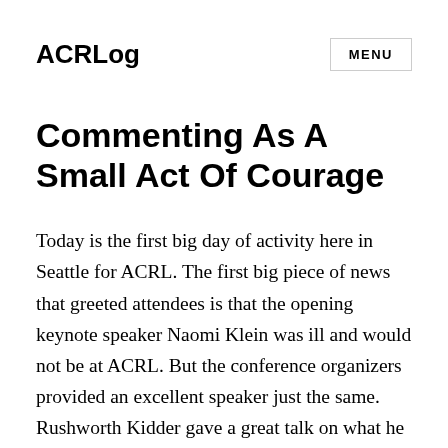ACRLog
Commenting As A Small Act Of Courage
Today is the first big day of activity here in Seattle for ACRL. The first big piece of news that greeted attendees is that the opening keynote speaker Naomi Klein was ill and would not be at ACRL. But the conference organizers provided an excellent speaker just the same. Rushworth Kidder gave a great talk on what he